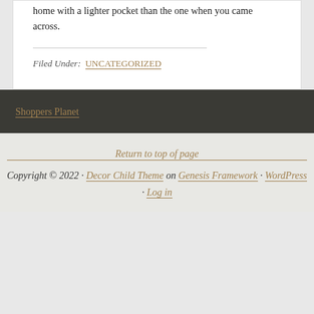home with a lighter pocket than the one when you came across.
Filed Under: UNCATEGORIZED
Shoppers Planet
Return to top of page
Copyright © 2022 · Decor Child Theme on Genesis Framework · WordPress · Log in